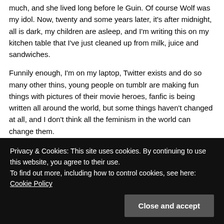much, and she lived long before le Guin. Of course Wolf was my idol. Now, twenty and some years later, it's after midnight, all is dark, my children are asleep, and I'm writing this on my kitchen table that I've just cleaned up from milk, juice and sandwiches.
Funnily enough, I'm on my laptop, Twitter exists and do so many other thins, young people on tumblr are making fun things with pictures of their movie heroes, fanfic is being written all around the world, but some things haven't changed at all, and I don't think all the feminism in the world can change them.
One, the biggest, is that children are small, and their needs have not changed by the technology or progressive thinking. They still need to eat, to be changed, to get out, to put to bed and the cleaning up after them still needs to be done. Even with the help of a husband, or an equal partner, that consumes a lot of time. If you don't get to everything in time there will be hell to pay. Screaming children don't want to listen
Privacy & Cookies: This site uses cookies. By continuing to use this website, you agree to their use.
To find out more, including how to control cookies, see here: Cookie Policy
Close and accept